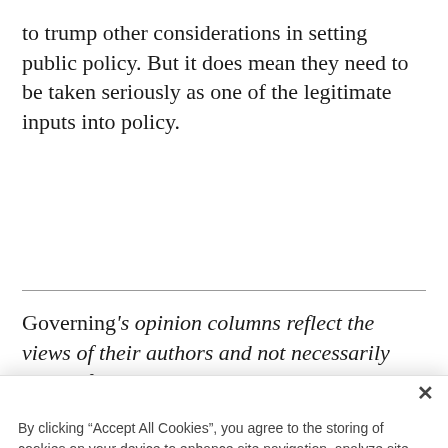to trump other considerations in setting public policy. But it does mean they need to be taken seriously as one of the legitimate inputs into policy.
Governing's opinion columns reflect the views of their authors and not necessarily those of
By clicking “Accept All Cookies”, you agree to the storing of cookies on your device to enhance site navigation, analyze site usage, and assist in our marketing efforts.
Accept All Cookies
Reject All
Cookies Settings